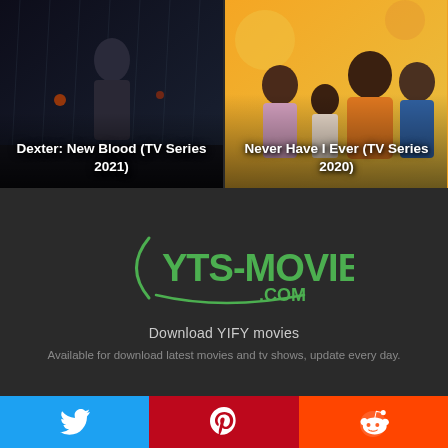[Figure (photo): Movie poster for Dexter: New Blood (TV Series 2021) — dark thriller image with a figure in rain at night]
Dexter: New Blood (TV Series 2021)
[Figure (photo): Movie poster for Never Have I Ever (TV Series 2020) — colorful image with three young women and a young man on orange background]
Never Have I Ever (TV Series 2020)
[Figure (logo): YTS-MOVIE.COM logo in green with swoosh]
Download YIFY movies
Available for download latest movies and tv shows, update every day.